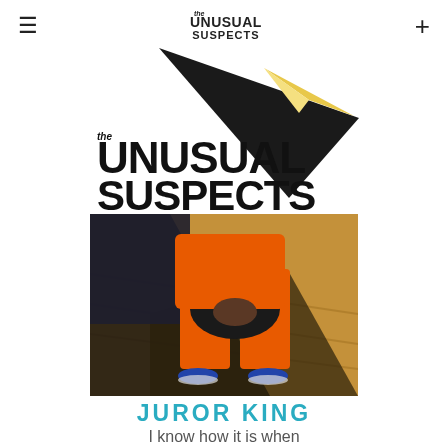≡  the UNUSUAL SUSPECTS  +
[Figure (logo): The Unusual Suspects logo with dark triangle/arrow graphic behind bold text reading 'the UNUSUAL SUSPECTS']
[Figure (photo): Person seated wearing an orange prison jumpsuit with hands clasped, sitting on a wooden floor with dark shadow]
JUROR KING
I know how it is when you locked up in the pen